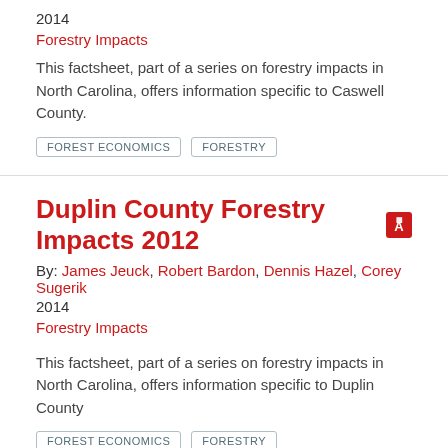2014
Forestry Impacts
This factsheet, part of a series on forestry impacts in North Carolina, offers information specific to Caswell County.
FOREST ECONOMICS
FORESTRY
Duplin County Forestry Impacts 2012
By: James Jeuck, Robert Bardon, Dennis Hazel, Corey Sugerik
2014
Forestry Impacts
This factsheet, part of a series on forestry impacts in North Carolina, offers information specific to Duplin County
FOREST ECONOMICS
FORESTRY
Gates County Forestry Impacts 2012